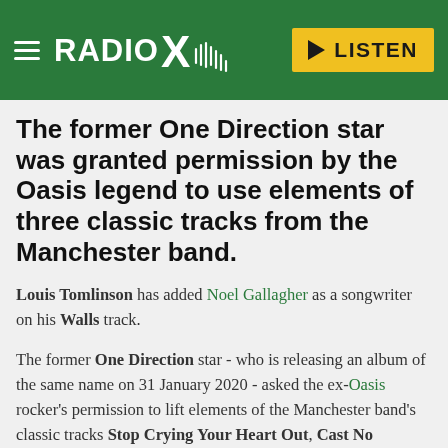Radio X — LISTEN
The former One Direction star was granted permission by the Oasis legend to use elements of three classic tracks from the Manchester band.
Louis Tomlinson has added Noel Gallagher as a songwriter on his Walls track.
The former One Direction star - who is releasing an album of the same name on 31 January 2020 - asked the ex-Oasis rocker's permission to lift elements of the Manchester band's classic tracks Stop Crying Your Heart Out, Cast No Shadow and Acquiesce on his